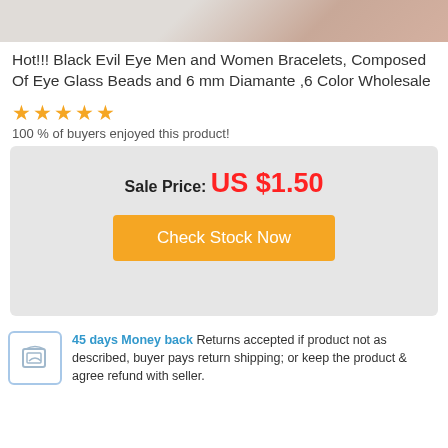[Figure (photo): Partial product photo showing bracelets with beige/copper tones at the top of the page]
Hot!!! Black Evil Eye Men and Women Bracelets, Composed Of Eye Glass Beads and 6 mm Diamante ,6 Color Wholesale
★★★★★
100 % of buyers enjoyed this product!
Sale Price: US $1.50
Check Stock Now
45 days Money back Returns accepted if product not as described, buyer pays return shipping; or keep the product & agree refund with seller.